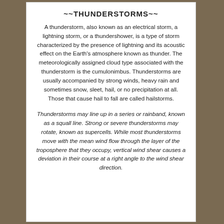~~THUNDERSTORMS~~
A thunderstorm, also known as an electrical storm, a lightning storm, or a thundershower, is a type of storm characterized by the presence of lightning and its acoustic effect on the Earth's atmosphere known as thunder. The meteorologically assigned cloud type associated with the thunderstorm is the cumulonimbus. Thunderstorms are usually accompanied by strong winds, heavy rain and sometimes snow, sleet, hail, or no precipitation at all. Those that cause hail to fall are called hailstorms.
Thunderstorms may line up in a series or rainband, known as a squall line. Strong or severe thunderstorms may rotate, known as supercells. While most thunderstorms move with the mean wind flow through the layer of the troposphere that they occupy, vertical wind shear causes a deviation in their course at a right angle to the wind shear direction.